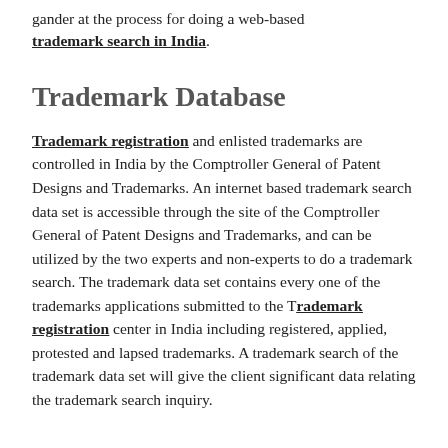gander at the process for doing a web-based trademark search in India.
Trademark Database
Trademark registration and enlisted trademarks are controlled in India by the Comptroller General of Patent Designs and Trademarks. An internet based trademark search data set is accessible through the site of the Comptroller General of Patent Designs and Trademarks, and can be utilized by the two experts and non-experts to do a trademark search. The trademark data set contains every one of the trademarks applications submitted to the Trademark registration center in India including registered, applied, protested and lapsed trademarks. A trademark search of the trademark data set will give the client significant data relating the trademark search inquiry.